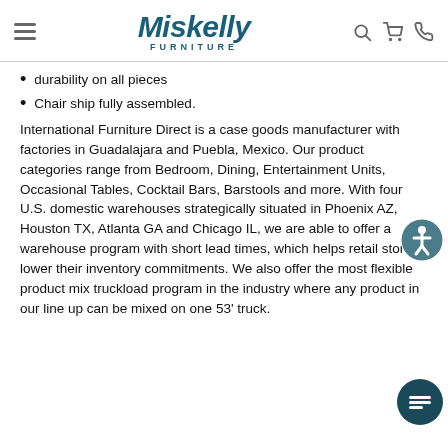Miskelly Furniture
durability on all pieces
Chair ship fully assembled.
International Furniture Direct is a case goods manufacturer with factories in Guadalajara and Puebla, Mexico. Our product categories range from Bedroom, Dining, Entertainment Units, Occasional Tables, Cocktail Bars, Barstools and more. With four U.S. domestic warehouses strategically situated in Phoenix AZ, Houston TX, Atlanta GA and Chicago IL, we are able to offer a warehouse program with short lead times, which helps retail stores lower their inventory commitments. We also offer the most flexible product mix truckload program in the industry where any product in our line up can be mixed on one 53' truck.